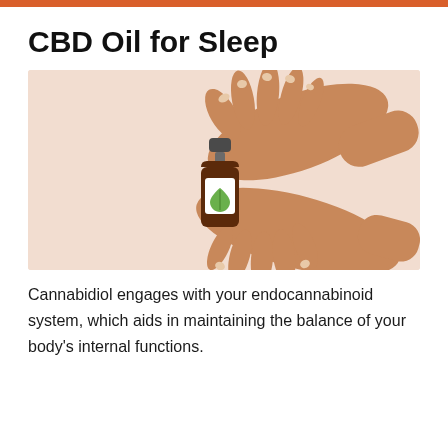CBD Oil for Sleep
[Figure (illustration): Illustration of two hands cupped around a small dark amber dropper bottle with a white label showing a green leaf/cannabis drop icon, on a beige/peach background.]
Cannabidiol engages with your endocannabinoid system, which aids in maintaining the balance of your body’s internal functions.